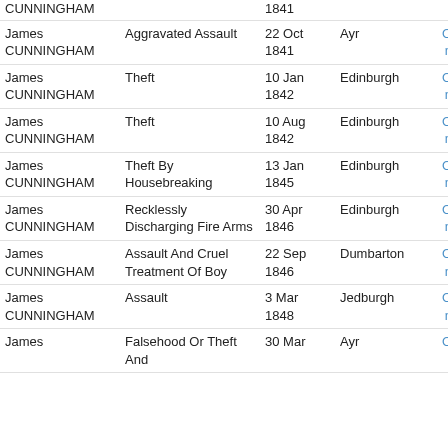| Name | Crime | Date | Place | Flag |
| --- | --- | --- | --- | --- |
| James CUNNINGHAM | Aggravated Assault | 22 Oct 1841 | Ayr | O n |
| James CUNNINGHAM | Theft | 10 Jan 1842 | Edinburgh | O n |
| James CUNNINGHAM | Theft | 10 Aug 1842 | Edinburgh | O n |
| James CUNNINGHAM | Theft By Housebreaking | 13 Jan 1845 | Edinburgh | O n |
| James CUNNINGHAM | Recklessly Discharging Fire Arms | 30 Apr 1846 | Edinburgh | O n |
| James CUNNINGHAM | Assault And Cruel Treatment Of Boy | 22 Sep 1846 | Dumbarton | O n |
| James CUNNINGHAM | Assault | 3 Mar 1848 | Jedburgh | O n |
| James | Falsehood Or Theft And | 30 Mar | Ayr | O |